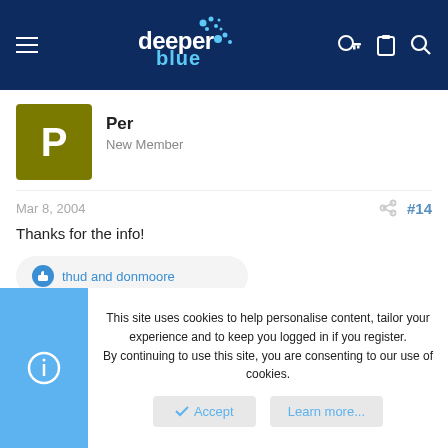deeper blue — website header with navigation icons
[Figure (logo): DeeperBlue logo with bubble dots, white text on dark navy background]
Per
New Member
Mar 8, 2004    #14
Thanks for the info!
thud and donmoore
This site uses cookies to help personalise content, tailor your experience and to keep you logged in if you register.
By continuing to use this site, you are consenting to our use of cookies.